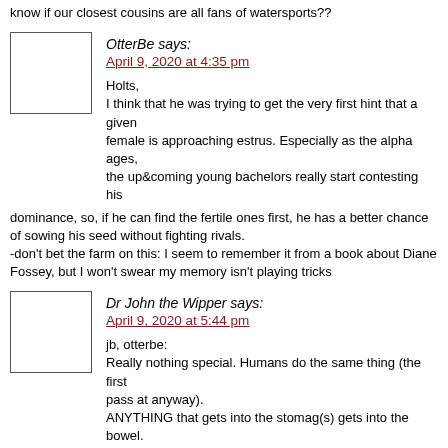know if our closest cousins are all fans of watersports??
OtterBe says:
April 9, 2020 at 4:35 pm

Holts,
I think that he was trying to get the very first hint that a given female is approaching estrus. Especially as the alpha ages, the up&coming young bachelors really start contesting his dominance, so, if he can find the fertile ones first, he has a better chance of sowing his seed without fighting rivals.
-don't bet the farm on this: I seem to remember it from a book about Diane Fossey, but I won't swear my memory isn't playing tricks
Dr John the Wipper says:
April 9, 2020 at 5:44 pm

jb, otterbe:
Really nothing special. Humans do the same thing (the first pass at anyway).
ANYTHING that gets into the stomag(s) gets into the bowel. Anything there gets subjected to various biochemical processes; and anything resorbible gets resorbed (= passed into the bloodstream). All the rest forms the poop. Now, quite somestuff can not be biochemically changed quick enough (and/or needs another process that takes place earlier in the digestive track). Just give it the time or the process it needs, and it is useful foodstuff.
Granted, evolution has given humans the means to be more selective ("picky" if you say so) with the intake, so we need it less; and so we are losing this gradually.
But if it becomes a matter of life and dead, most of us WILL lose the "pickyness"!